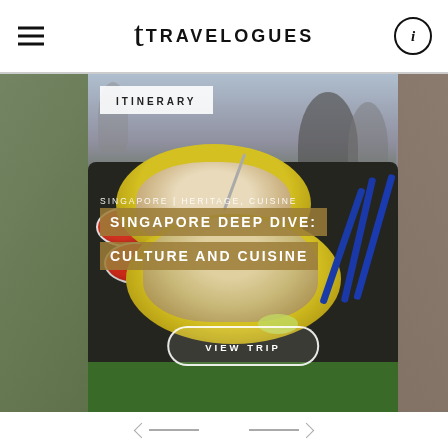Travelogues
[Figure (photo): Singapore hawker food photo showing chicken rice on yellow plates on a dark tray, with blue chopsticks and red sauce bowls, green table background, people blurred in background. Overlaid text: ITINERARY badge, category label 'SINGAPORE | HERITAGE, CUISINE', title 'SINGAPORE DEEP DIVE: CULTURE AND CUISINE', and 'VIEW TRIP' button.]
ITINERARY
SINGAPORE | HERITAGE, CUISINE
SINGAPORE DEEP DIVE: CULTURE AND CUISINE
VIEW TRIP